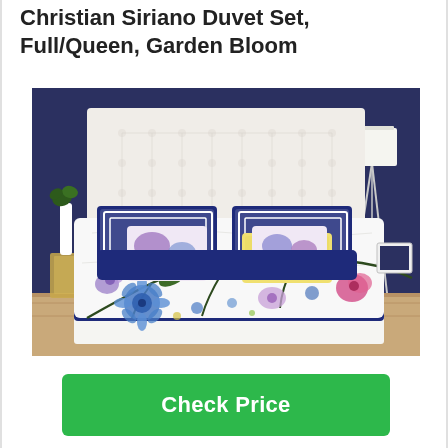Christian Siriano Duvet Set, Full/Queen, Garden Bloom
[Figure (photo): A bed made with a white and floral duvet set featuring blue, purple, pink, and green flowers and leaves on a white background. The bed has a tufted white upholstered headboard, navy blue pillow shams and throw pillows, and a yellow accent pillow. Bedroom decor includes a navy blue wall, a white floor lamp on a tripod stand, white vases, and a gold side table.]
Check Price